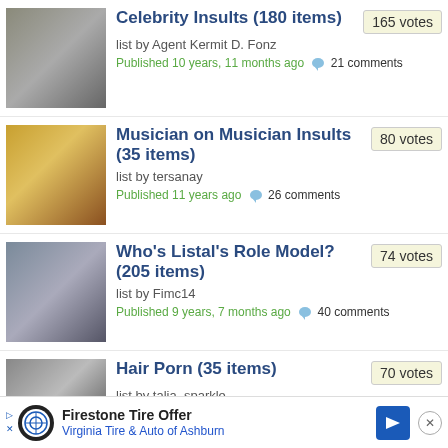Celebrity Insults (180 items) — 165 votes — list by Agent Kermit D. Fonz — Published 10 years, 11 months ago — 21 comments
Musician on Musician Insults (35 items) — 80 votes — list by tersanay — Published 11 years ago — 26 comments
Who's Listal's Role Model? (205 items) — 74 votes — list by Fimc14 — Published 9 years, 7 months ago — 40 comments
Hair Porn (35 items) — 70 votes — list by talia_sparkle
[Figure (infographic): Advertisement banner: Firestone Tire Offer — Virginia Tire & Auto of Ashburn, with logo and directional arrow icon]